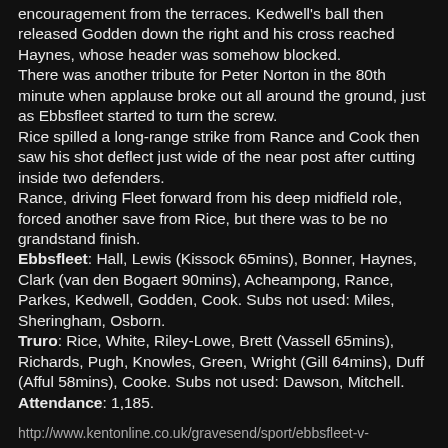encouragement from the terraces. Kedwell's ball then released Godden down the right and his cross reached Haynes, whose header was somehow blocked.
There was another tribute for Peter Norton in the 80th minute when applause broke out all around the ground, just as Ebbsfleet started to turn the screw.
Rice spilled a long-range strike from Rance and Cook then saw his shot deflect just wide of the near post after cutting inside two defenders.
Rance, driving Fleet forward from his deep midfield role, forced another save from Rice, but there was to be no grandstand finish.
Ebbsfleet: Hall, Lewis (Kissock 65mins), Bonner, Haynes, Clark (van den Bogaert 90mins), Acheampong, Rance, Parkes, Kedwell, Godden, Cook. Subs not used: Miles, Sheringham, Osborn.
Truro: Rice, White, Riley-Lowe, Brett (Vassell 65mins), Richards, Pugh, Knowles, Green, Wright (Gill 64mins), Duff (Afful 58mins), Cooke. Subs not used: Dawson, Mitchell.
Attendance: 1,185.
http://www.kentonline.co.uk/gravesend/sport/ebbsfleet-v-